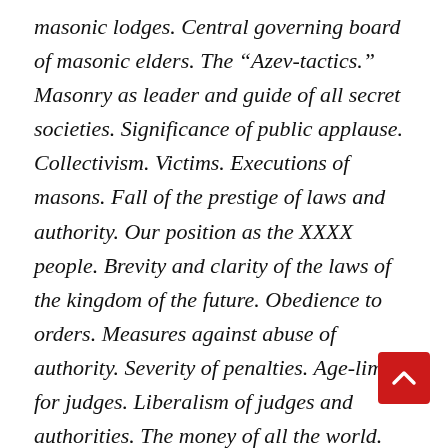masonic lodges. Central governing board of masonic elders. The “Azev-tactics.” Masonry as leader and guide of all secret societies. Significance of public applause. Collectivism. Victims. Executions of masons. Fall of the prestige of laws and authority. Our position as the XXXX people. Brevity and clarity of the laws of the kingdom of the future. Obedience to orders. Measures against abuse of authority. Severity of penalties. Age-limit for judges. Liberalism of judges and authorities. The money of all the world. Absolutism of masonry. Right of appeal. Patriarchal “outside appearance” of the power of the future “ruler.” Apotheosis of the ruler. The right of the strong as the one and only right. The King of XXXX. Patriarch of all the world.
[Figure (other): Red scroll-to-top button with white upward chevron arrow, positioned bottom-right corner]